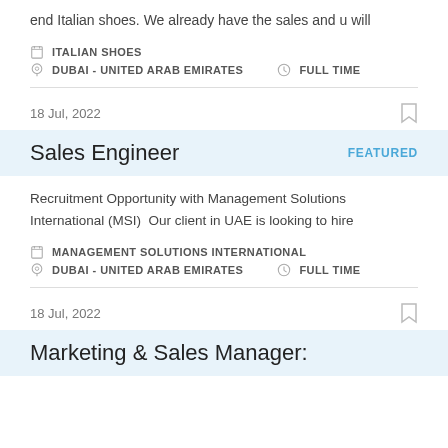end Italian shoes. We already have the sales and u will
ITALIAN SHOES
DUBAI - UNITED ARAB EMIRATES   FULL TIME
18 Jul, 2022
Sales Engineer
FEATURED
Recruitment Opportunity with Management Solutions International (MSI)  Our client in UAE is looking to hire
MANAGEMENT SOLUTIONS INTERNATIONAL
DUBAI - UNITED ARAB EMIRATES   FULL TIME
18 Jul, 2022
Marketing & Sales Manager: